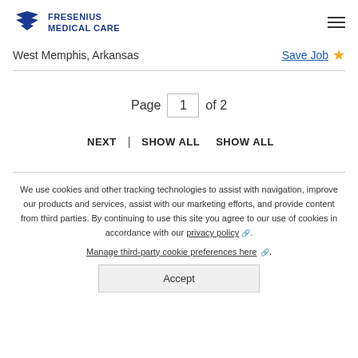Fresenius Medical Care
West Memphis, Arkansas
Save Job
Page 1 of 2
NEXT | SHOW ALL SHOW ALL
We use cookies and other tracking technologies to assist with navigation, improve our products and services, assist with our marketing efforts, and provide content from third parties. By continuing to use this site you agree to our use of cookies in accordance with our privacy policy. Manage third-party cookie preferences here.
Accept